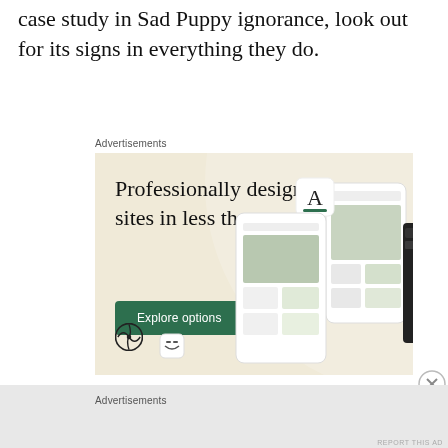case study in Sad Puppy ignorance, look out for its signs in everything they do.
Advertisements
[Figure (screenshot): WordPress advertisement showing 'Professionally designed sites in less than a week' with an Explore options button, WordPress logo, and website mockup screenshots on a beige background.]
Advertisements